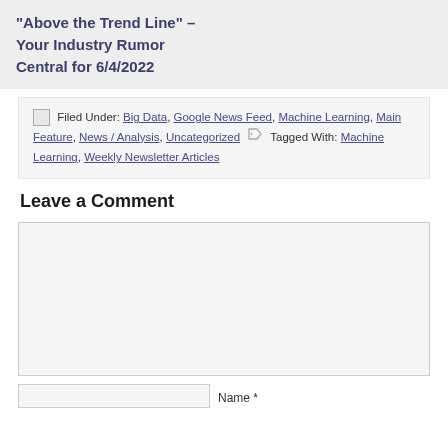“Above the Trend Line” – Your Industry Rumor Central for 6/4/2022
Filed Under: Big Data, Google News Feed, Machine Learning, Main Feature, News / Analysis, Uncategorized  Tagged With: Machine Learning, Weekly Newsletter Articles
Leave a Comment